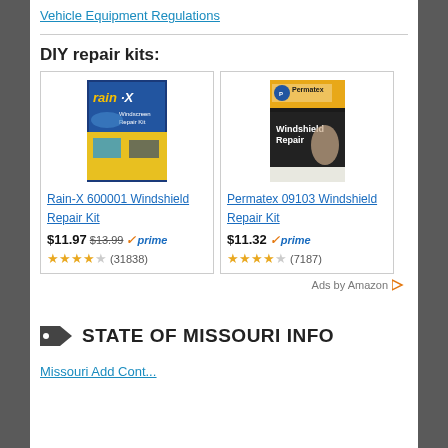Vehicle Equipment Regulations
DIY repair kits:
[Figure (photo): Rain-X 600001 Windshield Repair Kit product image]
Rain-X 600001 Windshield Repair Kit
$11.97  $13.99  prime  (31838)
[Figure (photo): Permatex 09103 Windshield Repair Kit product image]
Permatex 09103 Windshield Repair Kit
$11.32  prime  (7187)
Ads by Amazon
STATE OF MISSOURI INFO
Missouri Add Content...